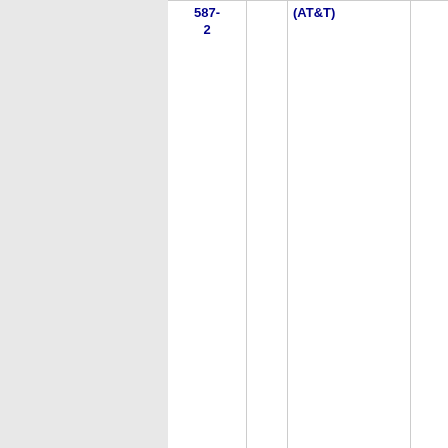| Phone | State | Carrier | Num | Extra |
| --- | --- | --- | --- | --- |
| 510-587-2 | (AT&T) |  | 1 |  |
| 510-587-3 | CA | PACIFIC BELL (AT&T) | 9740 |  |